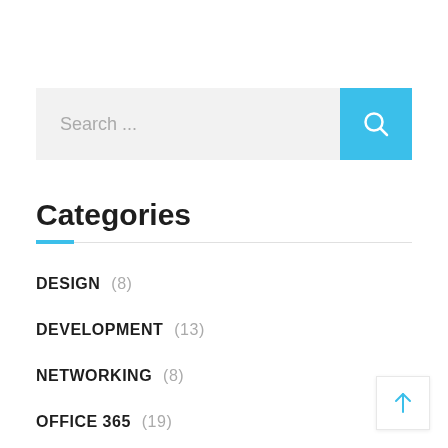[Figure (screenshot): Search bar with light grey background and blue search button with magnifying glass icon]
Categories
DESIGN (8)
DEVELOPMENT (13)
NETWORKING (8)
OFFICE 365 (19)
SECURITY (3)
SHAREPOINT ONLINE (29)